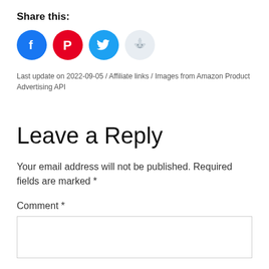Share this:
[Figure (illustration): Four social media share buttons: Facebook (blue circle with f icon), Pinterest (red circle with P icon), Twitter (cyan circle with bird icon), Reddit (light blue circle with alien icon)]
Last update on 2022-09-05 / Affiliate links / Images from Amazon Product Advertising API
Leave a Reply
Your email address will not be published. Required fields are marked *
Comment *